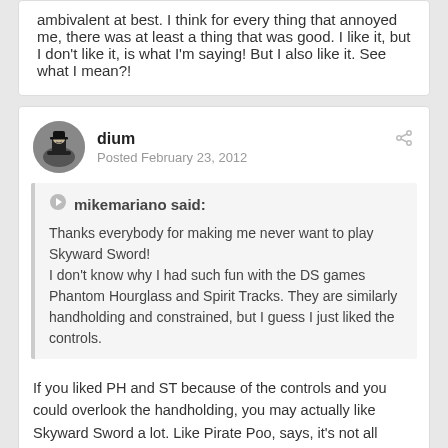ambivalent at best. I think for every thing that annoyed me, there was at least a thing that was good. I like it, but I don't like it, is what I'm saying! But I also like it. See what I mean?!
dium
Posted February 23, 2012
mikemariano said:
Thanks everybody for making me never want to play Skyward Sword!
I don't know why I had such fun with the DS games Phantom Hourglass and Spirit Tracks. They are similarly handholding and constrained, but I guess I just liked the controls.
If you liked PH and ST because of the controls and you could overlook the handholding, you may actually like Skyward Sword a lot. Like Pirate Poo, says, it's not all bad... the controls in particular I found to be outstanding.
My opinion of the game isn't that it's bad, just that it's disappointing. If Nintendo put just a bit more trust in the player, it could've been a great